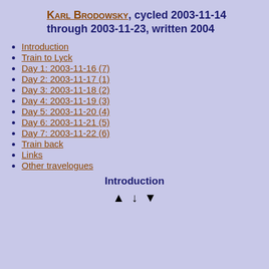Karl Brodowsky, cycled 2003-11-14 through 2003-11-23, written 2004
Introduction
Train to Lyck
Day 1: 2003-11-16 (7)
Day 2: 2003-11-17 (1)
Day 3: 2003-11-18 (2)
Day 4: 2003-11-19 (3)
Day 5: 2003-11-20 (4)
Day 6: 2003-11-21 (5)
Day 7: 2003-11-22 (6)
Train back
Links
Other travelogues
Introduction
▲ ↓ ▼